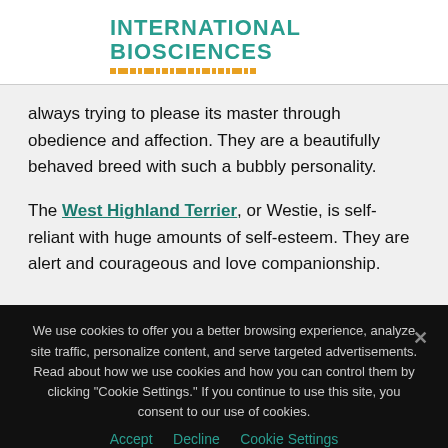INTERNATIONAL BIOSCIENCES
always trying to please its master through obedience and affection. They are a beautifully behaved breed with such a bubbly personality.
The West Highland Terrier, or Westie, is self-reliant with huge amounts of self-esteem. They are alert and courageous and love companionship.
We use cookies to offer you a better browsing experience, analyze site traffic, personalize content, and serve targeted advertisements. Read about how we use cookies and how you can control them by clicking "Cookie Settings." If you continue to use this site, you consent to our use of cookies.
Accept   Decline   Cookie Settings
St. Iberius Road, Dublin, Ireland